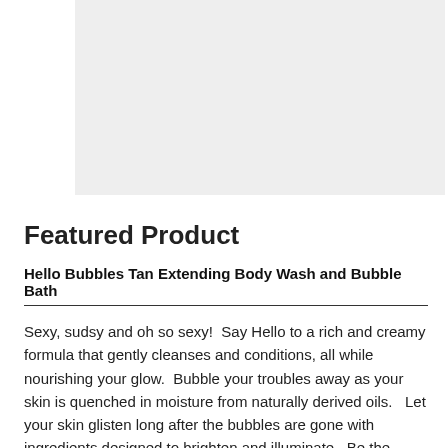[Figure (photo): Product image placeholder — light gray rectangle]
Featured Product
Hello Bubbles Tan Extending Body Wash and Bubble Bath
Sexy, sudsy and oh so sexy!  Say Hello to a rich and creamy formula that gently cleanses and conditions, all while nourishing your glow.  Bubble your troubles away as your skin is quenched in moisture from naturally derived oils.   Let your skin glisten long after the bubbles are gone with ingredients designed to brighten and illuminate.  Be the bathing beauty you know you